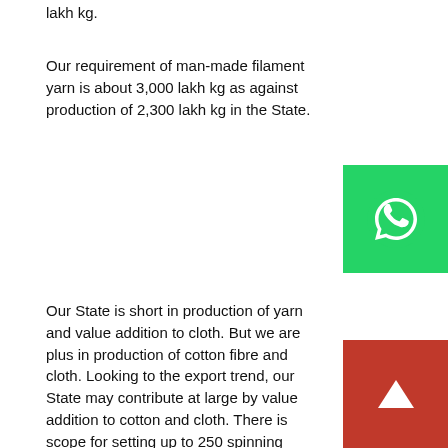lakh kg.
Our requirement of man-made filament yarn is about 3,000 lakh kg as against production of 2,300 lakh kg in the State.
Our State is short in production of yarn and value addition to cloth. But we are plus in production of cotton fibre and cloth. Looking to the export trend, our State may contribute at large by value addition to cotton and cloth. There is scope for setting up to 250 spinning mills, more than 2,000 garment units depending upon cap for which raw cotton and cloth is available in ample.
The State Government had declared a New Textile Policy on February 1, 2012. The said policy promises additional investment of Rs 40,000 crore and generation of 12 la employments. To achieve the goal, we are providing